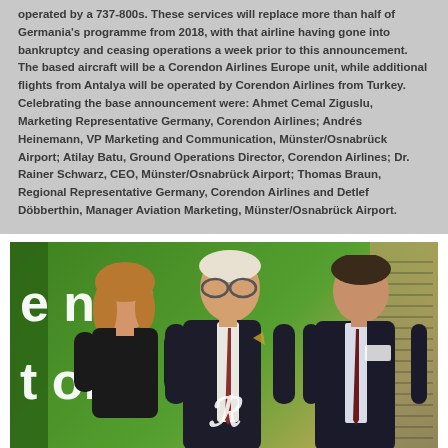operated by a 737-800s. These services will replace more than half of Germania's programme from 2018, with that airline having gone into bankruptcy and ceasing operations a week prior to this announcement. The based aircraft will be a Corendon Airlines Europe unit, while additional flights from Antalya will be operated by Corendon Airlines from Turkey. Celebrating the base announcement were: Ahmet Cemal Ziguslu, Marketing Representative Germany, Corendon Airlines; Andrés Heinemann, VP Marketing and Communication, Münster/Osnabrück Airport; Atilay Batu, Ground Operations Director, Corendon Airlines; Dr. Rainer Schwarz, CEO, Münster/Osnabrück Airport; Thomas Braun, Regional Representative Germany, Corendon Airlines and Detlef Döbberthin, Manager Aviation Marketing, Münster/Osnabrück Airport.
[Figure (photo): Three people standing together in front of a green banner at an aviation event. A woman in black on the left, an older man in the center, and a man in a dark suit on the right. Partial banner text visible reading 'e ne' and 't on'. A logo R symbol visible at bottom center. A building visible on the right side.]